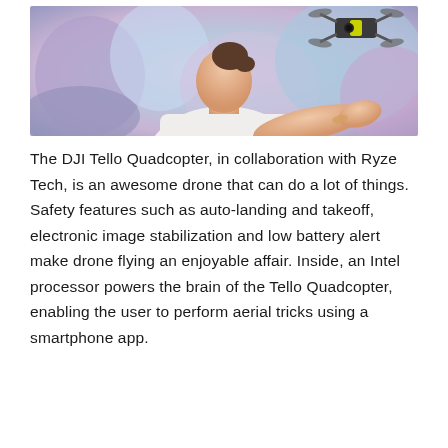[Figure (photo): A woman holding up a small DJI Tello quadcopter drone on her outstretched hand, with a colorful blurred background.]
The DJI Tello Quadcopter, in collaboration with Ryze Tech, is an awesome drone that can do a lot of things. Safety features such as auto-landing and takeoff, electronic image stabilization and low battery alert make drone flying an enjoyable affair. Inside, an Intel processor powers the brain of the Tello Quadcopter, enabling the user to perform aerial tricks using a smartphone app.